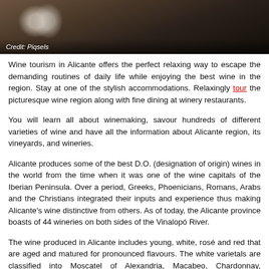[Figure (photo): Photo of wine glasses and table setting, dark background. Credit: Piqsels]
Credit: Piqsels
Wine tourism in Alicante offers the perfect relaxing way to escape the demanding routines of daily life while enjoying the best wine in the region. Stay at one of the stylish accommodations. Relaxingly tour the picturesque wine region along with fine dining at winery restaurants.
You will learn all about winemaking, savour hundreds of different varieties of wine and have all the information about Alicante region, its vineyards, and wineries.
Alicante produces some of the best D.O. (designation of origin) wines in the world from the time when it was one of the wine capitals of the Iberian Peninsula. Over a period, Greeks, Phoenicians, Romans, Arabs and the Christians integrated their inputs and experience thus making Alicante's wine distinctive from others. As of today, the Alicante province boasts of 44 wineries on both sides of the Vinalopó River.
The wine produced in Alicante includes young, white, rosé and red that are aged and matured for pronounced flavours. The white varietals are classified into Moscatel of Alexandria, Macabeo, Chardonnay, Meseguera, Planta Fina, Sauvignon Blanc and Verdil while